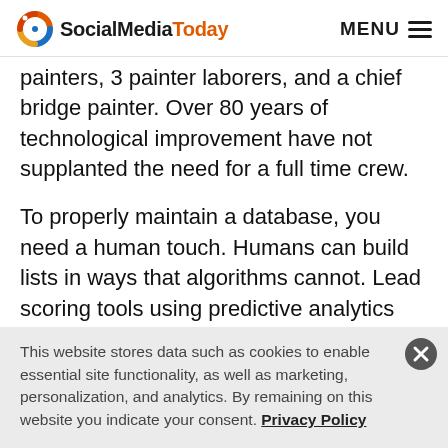SocialMediaToday  MENU
painters, 3 painter laborers, and a chief bridge painter. Over 80 years of technological improvement have not supplanted the need for a full time crew.
To properly maintain a database, you need a human touch. Humans can build lists in ways that algorithms cannot. Lead scoring tools using predictive analytics are improving in quality, but the power of a skilled human + technology will always beat out technology on its own. However, prospecting is not always the most efficient use of your salespeople's time. Quality
This website stores data such as cookies to enable essential site functionality, as well as marketing, personalization, and analytics. By remaining on this website you indicate your consent. Privacy Policy